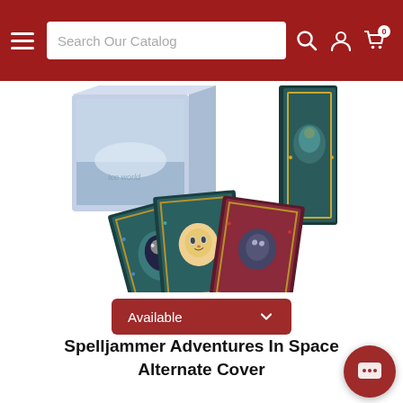Search Our Catalog
[Figure (photo): Product photo of Spelljammer Adventures In Space Alternate Cover - showing multiple decorated hardcover books with ornate illustrated covers in teal, red and gold, plus a box set with fantasy space artwork]
Available
Spelljammer Adventures In Space Alternate Cover
$99.99